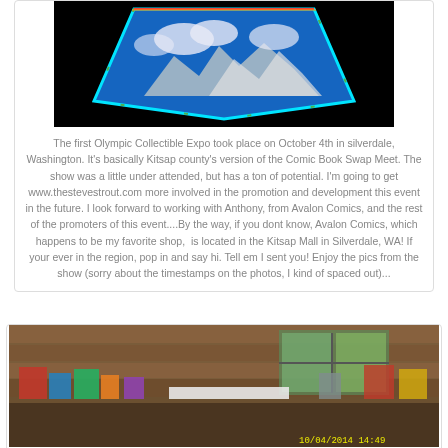[Figure (photo): Comic/collectibles expo logo or artwork on black background showing a shield/badge shape with mountain imagery in blue and white with colorful border]
The first Olympic Collectible Expo took place on October 4th in silverdale, Washington. It's basically Kitsap county's version of the Comic Book Swap Meet. The show was a little under attended, but has a ton of potential. I'm going to get www.thestevestrout.com more involved in the promotion and development this event in the future. I look forward to working with Anthony, from Avalon Comics, and the rest of the promoters of this event....By the way, if you dont know, Avalon Comics, which happens to be my favorite shop,  is located in the Kitsap Mall in Silverdale, WA! If your ever in the region, pop in and say hi. Tell em I sent you! Enjoy the pics from the show (sorry about the timestamps on the photos, I kind of spaced out)...
[Figure (photo): Indoor photo of comic book/collectibles show tables with items on display, wooden wall and window visible in background, timestamp 10/04/2014 14:49 shown in yellow]